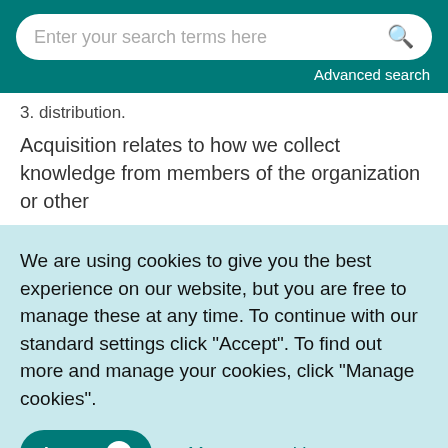Enter your search terms here   Advanced search
3.  distribution.
Acquisition relates to how we collect knowledge from members of the organization or other
We are using cookies to give you the best experience on our website, but you are free to manage these at any time. To continue with our standard settings click "Accept". To find out more and manage your cookies, click "Manage cookies".
Accept   Manage cookies   ×
challenging (and proportionally more important)